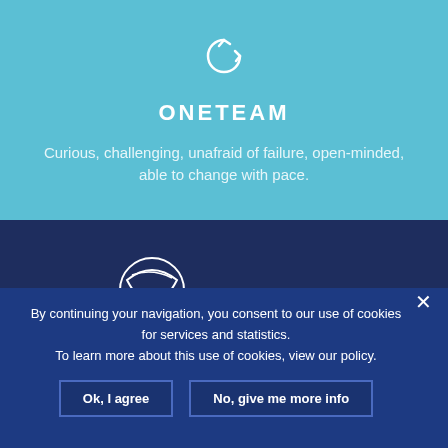[Figure (illustration): Circular refresh/sync icon in white on teal background]
ONETEAM
Curious, challenging, unafraid of failure, open-minded, able to change with pace.
[Figure (logo): Quality Policy logo with circular swoosh graphic and text QUALITY POLICY on dark navy background, with a horizontal line to the right]
By continuing your navigation, you consent to our use of cookies for services and statistics.
To learn more about this use of cookies, view our policy.
Ok, I agree
No, give me more info